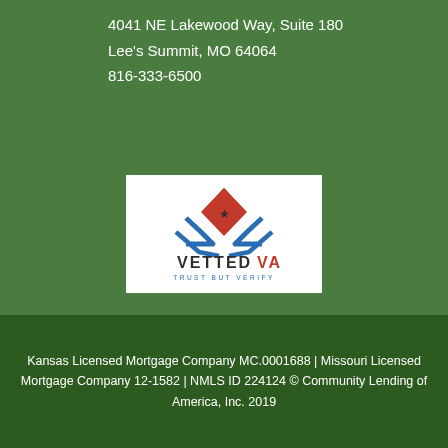4041 NE Lakewood Way, Suite 180
Lee's Summit, MO 64064
816-333-6500
[Figure (logo): Vetted VA logo — red chevron/house shape with blue wings and a star, text 'VETTED VA' and tagline 'TRUST BUT VERIFY' on white background]
Kansas Licensed Mortgage Company MC.0001688 | Missouri Licensed Mortgage Company 12-1582 | NMLS ID 224124 © Community Lending of America, Inc. 2019